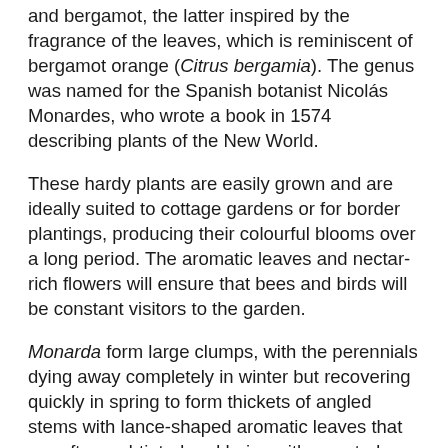and bergamot, the latter inspired by the fragrance of the leaves, which is reminiscent of bergamot orange (Citrus bergamia). The genus was named for the Spanish botanist Nicolás Monardes, who wrote a book in 1574 describing plants of the New World.
These hardy plants are easily grown and are ideally suited to cottage gardens or for border plantings, producing their colourful blooms over a long period. The aromatic leaves and nectar-rich flowers will ensure that bees and birds will be constant visitors to the garden.
Monarda form large clumps, with the perennials dying away completely in winter but recovering quickly in spring to form thickets of angled stems with lance-shaped aromatic leaves that are often red-tinted and hairy, with serrated edges. In early summer the top of each stem carries several whorls of tubular flowers backed by leafy bracts. The flowers are usually red, pink, or purple.
Monarda species are very hardy and easily grown in any open sunny position with moist well-drained soil. Mildew is